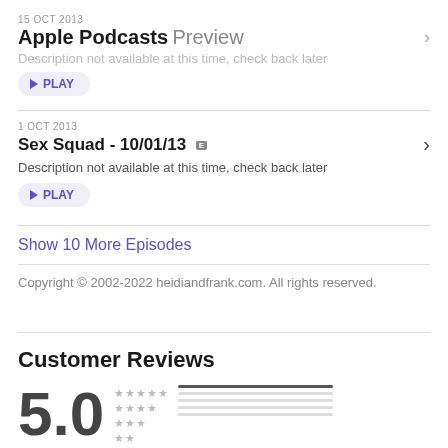15 OCT 2013
Apple Podcasts Preview
Description not available at this time, check back later
PLAY
1 OCT 2013
Sex Squad - 10/01/13 [E]
Description not available at this time, check back later
PLAY
Show 10 More Episodes
Copyright © 2002-2022 heidiandfrank.com. All rights reserved.
Customer Reviews
5.0
[Figure (other): Star rating bars with 5 rows of star icons and corresponding rating bars]